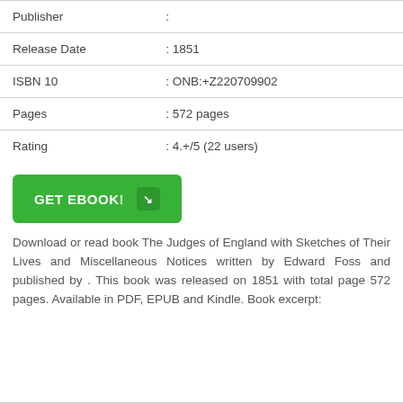| Field | Value |
| --- | --- |
| Publisher | : |
| Release Date | : 1851 |
| ISBN 10 | : ONB:+Z220709902 |
| Pages | : 572 pages |
| Rating | : 4.+/5 (22 users) |
GET EBOOK!
Download or read book The Judges of England with Sketches of Their Lives and Miscellaneous Notices written by Edward Foss and published by . This book was released on 1851 with total page 572 pages. Available in PDF, EPUB and Kindle. Book excerpt: